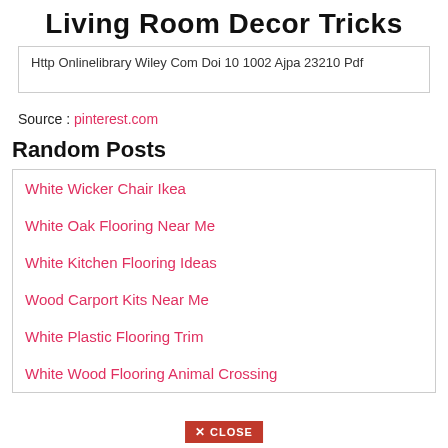Living Room Decor Tricks
Http Onlinelibrary Wiley Com Doi 10 1002 Ajpa 23210 Pdf
Source : pinterest.com
Random Posts
White Wicker Chair Ikea
White Oak Flooring Near Me
White Kitchen Flooring Ideas
Wood Carport Kits Near Me
White Plastic Flooring Trim
White Wood Flooring Animal Crossing